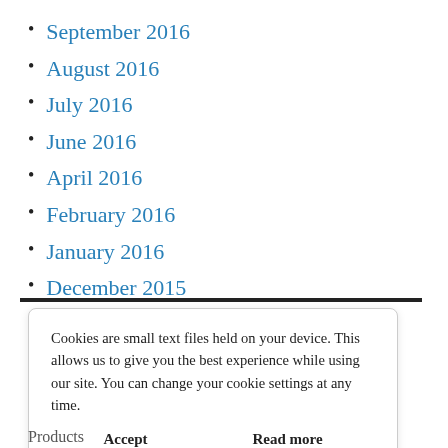September 2016
August 2016
July 2016
June 2016
April 2016
February 2016
January 2016
December 2015
Cookies are small text files held on your device. This allows us to give you the best experience while using our site. You can change your cookie settings at any time.
Accept    Read more
Products